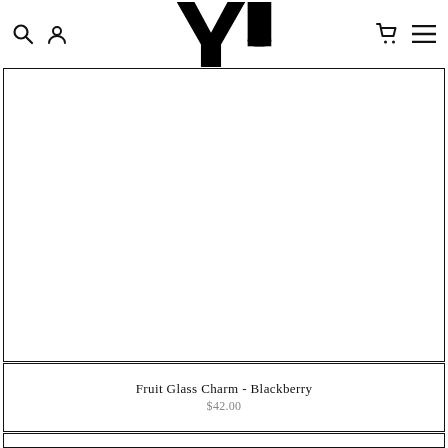Yu — navigation bar with search, account, cart, and menu icons
[Figure (logo): Yu brand logo in large bold black stylized font]
[Figure (photo): Product image area - white/blank product photo box]
Fruit Glass Charm - Blackberry
$42.00
[Figure (photo): Second product image area - white/blank box]